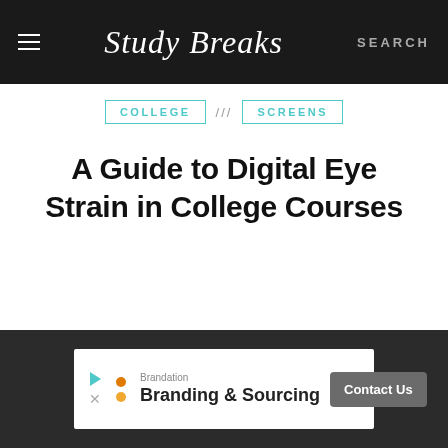Study Breaks — SEARCH
COLLEGE /// SCREENS
A Guide to Digital Eye Strain in College Courses
[Figure (other): Advertisement banner for Brandation — Branding & Sourcing with Contact Us button]